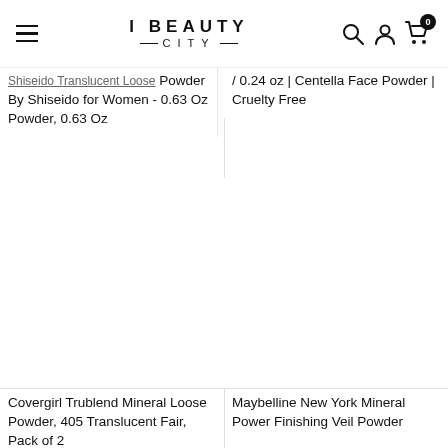I BEAUTY CITY
Shiseido Translucent Loose Powder By Shiseido for Women - 0.63 Oz Powder, 0.63 Oz
BEAUTY PIE M STAR Powder 7g / 0.24 oz | Centella Face Powder | Cruelty Free
Covergirl Trublend Mineral Loose Powder, 405 Translucent Fair, Pack of 2
Maybelline New York Mineral Power Finishing Veil Powder